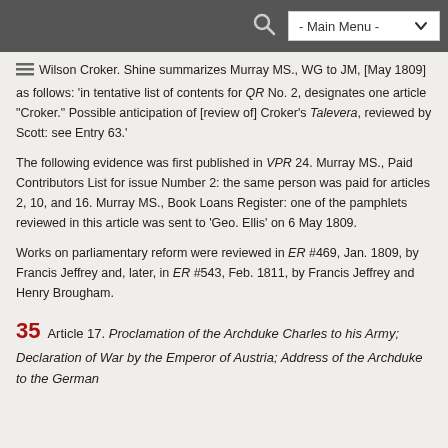- Main Menu -
Wilson Croker. Shine summarizes Murray MS., WG to JM, [May 1809] as follows: 'in tentative list of contents for QR No. 2, designates one article "Croker." Possible anticipation of [review of] Croker's Talevera, reviewed by Scott: see Entry 63.'
The following evidence was first published in VPR 24. Murray MS., Paid Contributors List for issue Number 2: the same person was paid for articles 2, 10, and 16. Murray MS., Book Loans Register: one of the pamphlets reviewed in this article was sent to 'Geo. Ellis' on 6 May 1809.
Works on parliamentary reform were reviewed in ER #469, Jan. 1809, by Francis Jeffrey and, later, in ER #543, Feb. 1811, by Francis Jeffrey and Henry Brougham.
35 Article 17. Proclamation of the Archduke Charles to his Army; Declaration of War by the Emperor of Austria; Address of the Archduke to the German